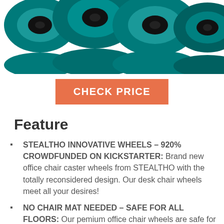[Figure (photo): Teal/green office chair caster wheels product photo, several wheels arranged in a row, partially cropped at top]
CHECK PRICE
Feature
STEALTHO INNOVATIVE WHEELS – 920% CROWDFUNDED ON KICKSTARTER: Brand new office chair caster wheels from STEALTHO with the totally reconsidered design. Our desk chair wheels meet all your desires!
NO CHAIR MAT NEEDED – SAFE FOR ALL FLOORS: Our pemium office chair wheels are safe for any kind of the floor. Simple office chair wheels replacement for you!
SMOOTH & QUIET BARRIER-FREE ROLLING: High-tech